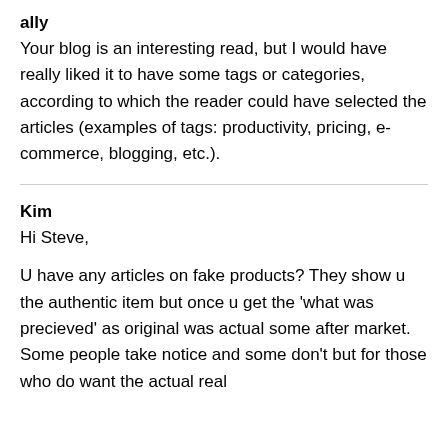ally
Your blog is an interesting read, but I would have really liked it to have some tags or categories, according to which the reader could have selected the articles (examples of tags: productivity, pricing, e-commerce, blogging, etc.).
Kim
Hi Steve,

U have any articles on fake products? They show u the authentic item but once u get the 'what was precieved' as original was actual some after market. Some people take notice and some don't but for those who do want the actual real